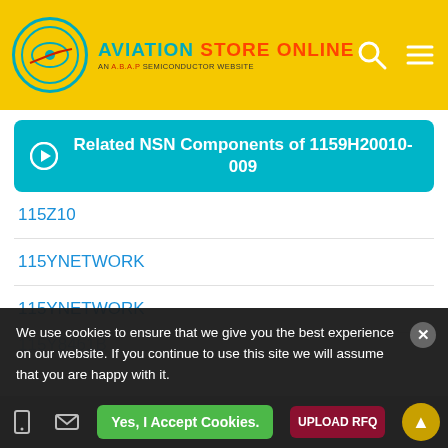AVIATION STORE ONLINE — AN A.B.A.P SEMICONDUCTOR WEBSITE
Related NSN Components of 1159H20010-009
115Z10
115YNETWORK
115YNETWORK
115YNETWORK
115Y8461B
115Y8461B
We use cookies to ensure that we give you the best experience on our website. If you continue to use this site we will assume that you are happy with it.
Yes, I Accept Cookies.